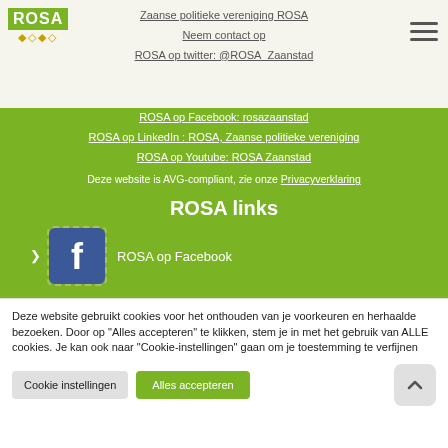Zaanse politieke vereniging ROSA
Neem contact op
ROSA op twitter: @ROSA_Zaanstad
ROSA op Facebook: rosazaanstad
ROSA op LinkedIn : ROSA, Zaanse politieke vereniging
ROSA op Youtube: ROSA Zaanstad
Deze website is AVG-compliant, zie onze Privacyverklaring
ROSA links
[Figure (logo): Facebook logo icon (blue square with white 'f') with label 'ROSA op Facebook']
Deze website gebruikt cookies voor het onthouden van je voorkeuren en herhaalde bezoeken. Door op "Alles accepteren" te klikken, stem je in met het gebruik van ALLE cookies. Je kan ook naar "Cookie-instellingen" gaan om je toestemming te verfijnen